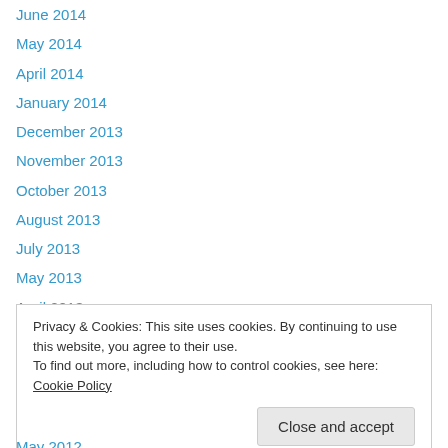June 2014
May 2014
April 2014
January 2014
December 2013
November 2013
October 2013
August 2013
July 2013
May 2013
April 2013
February 2013
January 2013
Privacy & Cookies: This site uses cookies. By continuing to use this website, you agree to their use.
To find out more, including how to control cookies, see here: Cookie Policy
May 2012